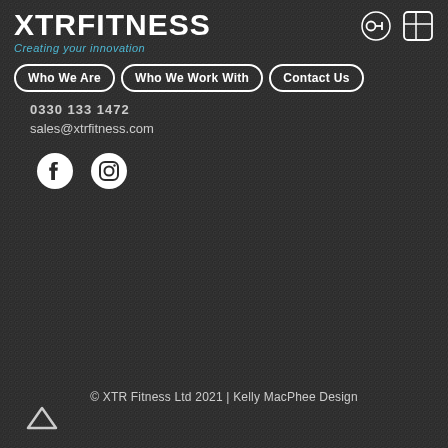XTR FITNESS - Creating your innovation
Who We Are
Who We Work With
Contact Us
0330 133 1472
sales@xtrfitness.com
[Figure (logo): Facebook and Instagram social media icons]
© XTR Fitness Ltd 2021 | Kelly MacPhee Design